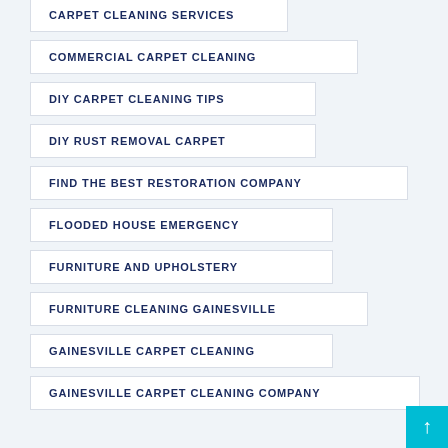CARPET CLEANING SERVICES
COMMERCIAL CARPET CLEANING
DIY CARPET CLEANING TIPS
DIY RUST REMOVAL CARPET
FIND THE BEST RESTORATION COMPANY
FLOODED HOUSE EMERGENCY
FURNITURE AND UPHOLSTERY
FURNITURE CLEANING GAINESVILLE
GAINESVILLE CARPET CLEANING
GAINESVILLE CARPET CLEANING COMPANY